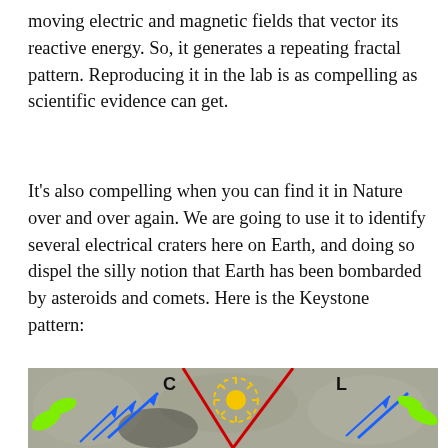moving electric and magnetic fields that vector its reactive energy. So, it generates a repeating fractal pattern. Reproducing it in the lab is as compelling as scientific evidence can get.
It's also compelling when you can find it in Nature over and over again. We are going to use it to identify several electrical craters here on Earth, and doing so dispel the silly notion that Earth has been bombarded by asteroids and comets. Here is the Keystone pattern:
[Figure (photo): Photograph of a laboratory or geological formation showing a Keystone pattern with annotated arrows and labels. Blue arrows point upward-left and are labeled 'C' on the left side and 'L' on the right side. Green curved arrow shapes are visible at left and right edges. Red diagonal lines form a V-shape or triangle pattern over a central circular sunburst shape drawn in yellow dashed lines with a yellow circle in the center. The background is a gray rocky or sandy textured surface.]